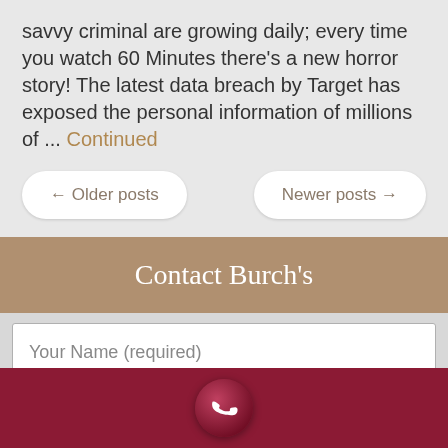savvy criminal are growing daily; every time you watch 60 Minutes there's a new horror story! The latest data breach by Target has exposed the personal information of millions of ... Continued
← Older posts
Newer posts →
Contact Burch's
Your Name (required)
Your Email (required)
[Figure (screenshot): Phone icon in a dark red circle on a crimson bar at the bottom of the page]